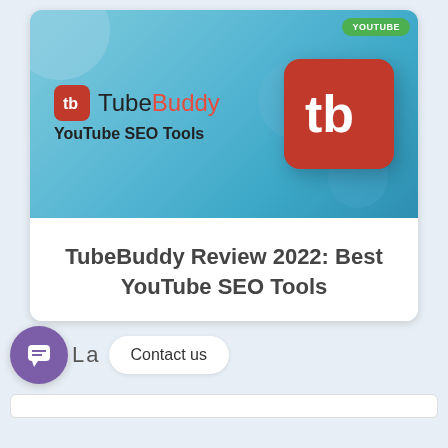[Figure (screenshot): TubeBuddy branding banner with gradient blue background, TubeBuddy logo and icon, YouTube SEO Tools tagline, large red TubeBuddy icon on right, green YouTube badge top right]
TubeBuddy Review 2022: Best YouTube SEO Tools
L a
Contact us